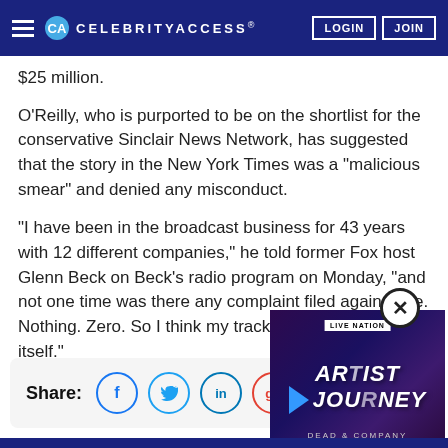CELEBRITYACCESS. LOGIN JOIN
$25 million.
O'Reilly, who is purported to be on the shortlist for the conservative Sinclair News Network, has suggested that the story in the New York Times was a "malicious smear" and denied any misconduct.
“I have been in the broadcast business for 43 years with 12 different companies,” he told former Fox host Glenn Beck on Beck’s radio program on Monday, “and not one time was there any complaint filed against me. Nothing. Zero. So I think my track record speaks for itself.”
Share:
[Figure (screenshot): Live Nation Artist Journey - Dead & Company video overlay with close button]